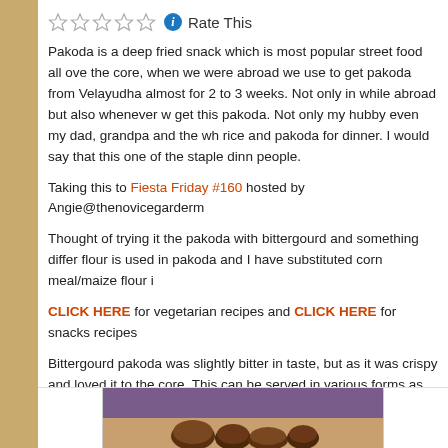Rate This
Pakoda is a deep fried snack which is most popular street food all over the core, when we were abroad we use to get pakoda from Velayudha almost for 2 to 3 weeks. Not only in while abroad but also whenever we get this pakoda. Not only my hubby even my dad, grandpa and the whole rice and pakoda for dinner. I would say that this one of the staple dinner people.
Taking this to Fiesta Friday #160 hosted by Angie@thenovicegarderm
Thought of trying it the pakoda with bittergourd and something different flour is used in pakoda and I have substituted corn meal/maize flour in
CLICK HERE for vegetarian recipes and CLICK HERE for snacks recipes
Bittergourd pakoda was slightly bitter in taste, but as it was crispy and loved it to the core. This can be served in various forms as tea-time snack dinner along with rice. I would say try this combination – Steamed rice with a tsp of sugar (optional) and this pakoda would taste heavenly fo
[Figure (photo): Photo of bittergourd pakoda dish, dark fried snacks visible at bottom of page]